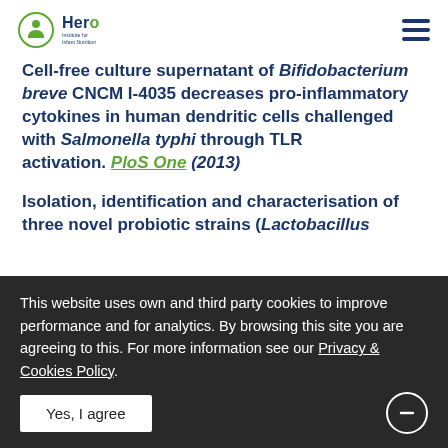Hero Institute for Infant Nutrition
Cell-free culture supernatant of Bifidobacterium breve CNCM I-4035 decreases pro-inflammatory cytokines in human dendritic cells challenged with Salmonella typhi through TLR activation. PloS One (2013)
Isolation, identification and characterisation of three novel probiotic strains (Lactobacillus ...
This website uses own and third party cookies to improve performance and for analytics. By browsing this site you are agreeing to this. For more information see our Privacy & Cookies Policy.